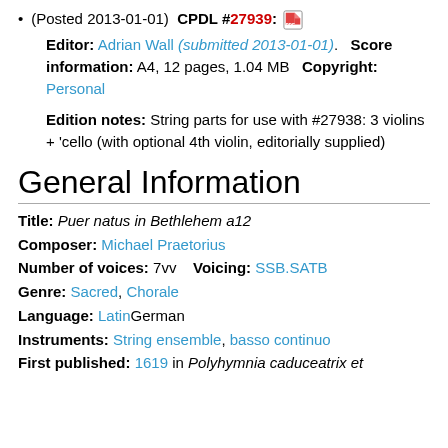(Posted 2013-01-01) CPDL #27939: [PDF icon]
Editor: Adrian Wall (submitted 2013-01-01). Score information: A4, 12 pages, 1.04 MB Copyright: Personal
Edition notes: String parts for use with #27938: 3 violins + 'cello (with optional 4th violin, editorially supplied)
General Information
Title: Puer natus in Bethlehem a12
Composer: Michael Praetorius
Number of voices: 7vv   Voicing: SSB.SATB
Genre: Sacred, Chorale
Language: LatinGerman
Instruments: String ensemble, basso continuo
First published: 1619 in Polyhymnia caduceatrix et